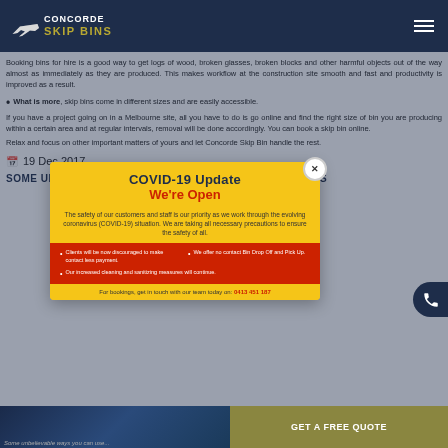CONCORDE SKIP BINS
Booking bins for hire is a good way to get logs of wood, broken glasses, broken blocks and other harmful objects out of the way almost as immediately as they are produced. This makes workflow at the construction site smooth and fast and productivity is improved as a result.
What is more, skip bins come in different sizes and are easily accessible.
If you have a project going on in a Melbourne site, all you have to do is go online and find the right size of bin you are producing within a certain area and at regular intervals, removal will be done accordingly. You can book a skip bin online.
Relax and focus on other important matters of yours and let Concorde Skip Bin handle the rest.
19 Dec 2017
SOME UNBELIEVABLE WAYS YOU CAN USE YOUR SKIP BINS
[Figure (screenshot): COVID-19 Update modal popup with yellow and red background. Title: COVID-19 Update, subtitle: We're Open. Body text about customer safety. Red section with bullet points about contactless payment, bin drop off and pick up, cleaning measures. Footer with booking phone number 0413 451 187.]
[Figure (photo): Bottom strip showing partial image of skip bins trucks]
GET A FREE QUOTE